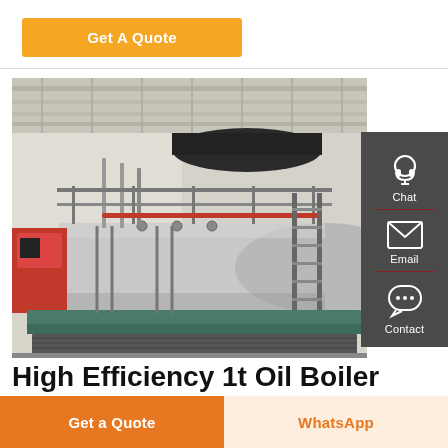Get A Quote
[Figure (photo): Industrial oil boiler with scaffolding and ladder inside a warehouse facility. Large horizontal cylindrical stainless steel tank with pipe fittings, mounted on a steel frame with access ladder.]
High Efficiency 1t Oil Boiler Agent
Get a Quote
WhatsApp
Chat
Email
Contact